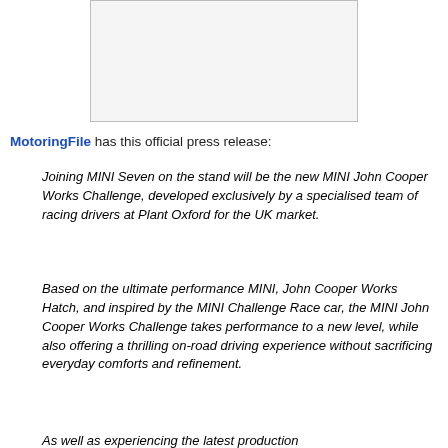[Figure (photo): Blank/placeholder image box at top center of page]
MotoringFile has this official press release:
Joining MINI Seven on the stand will be the new MINI John Cooper Works Challenge, developed exclusively by a specialised team of racing drivers at Plant Oxford for the UK market.
Based on the ultimate performance MINI, John Cooper Works Hatch, and inspired by the MINI Challenge Race car, the MINI John Cooper Works Challenge takes performance to a new level, while also offering a thrilling on-road driving experience without sacrificing everyday comforts and refinement.
As well as experiencing the latest production